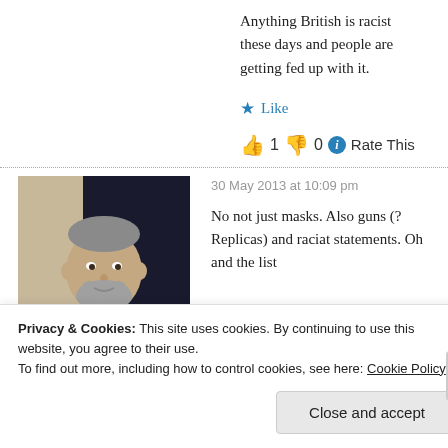Anything British is racist these days and people are getting fed up with it.
Like
👍 1 👎 0 ℹ Rate This
30 May 2013 at 10:09 pm
[Figure (photo): Avatar photo of user Stuart, a middle-aged man with grey beard in a dark shirt]
★ Stuart
No not just masks. Also guns (? Replicas) and raciat statements. Oh and the list
Privacy & Cookies: This site uses cookies. By continuing to use this website, you agree to their use.
To find out more, including how to control cookies, see here: Cookie Policy
Close and accept